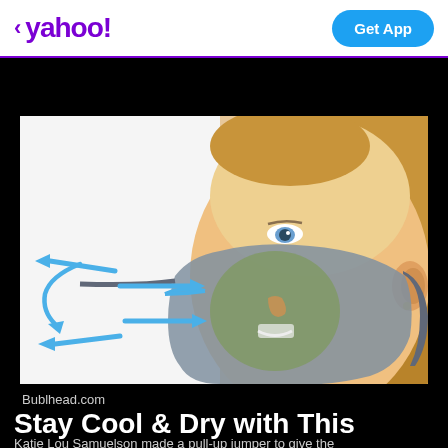< yahoo! | Get App
[Figure (photo): Woman wearing a gray face mask with a green ventilation area around the nose and mouth, with blue arrows showing airflow. Product image from Bublhead.com.]
Bublhead.com
Stay Cool & Dry with This
Katie Lou Samuelson made a pull-up jumper to give the